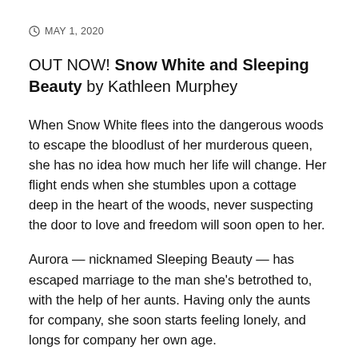MAY 1, 2020
OUT NOW! Snow White and Sleeping Beauty by Kathleen Murphey
When Snow White flees into the dangerous woods to escape the bloodlust of her murderous queen, she has no idea how much her life will change. Her flight ends when she stumbles upon a cottage deep in the heart of the woods, never suspecting the door to love and freedom will soon open to her.
Aurora — nicknamed Sleeping Beauty — has escaped marriage to the man she's betrothed to, with the help of her aunts. Having only the aunts for company, she soon starts feeling lonely, and longs for company her own age.
When the two girls meet and fall in love, will their tender relationship bloom and last, or will it fade under the constant